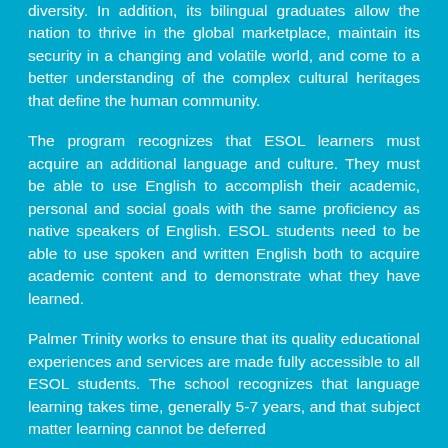diversity. In addition, its bilingual graduates allow the nation to thrive in the global marketplace, maintain its security in a changing and volatile world, and come to a better understanding of the complex cultural heritages that define the human community.
The program recognizes that ESOL learners must acquire an additional language and culture. They must be able to use English to accomplish their academic, personal and social goals with the same proficiency as native speakers of English. ESOL students need to be able to use spoken and written English both to acquire academic content and to demonstrate what they have learned.
Palmer Trinity works to ensure that its quality educational experiences and services are made fully accessible to all ESOL students. The school recognizes that language learning takes time, generally 5-7 years, and that subject matter learning cannot be deferred